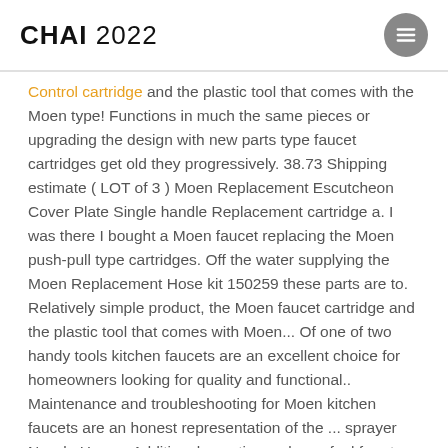CHAI 2022
Control cartridge and the plastic tool that comes with the Moen type! Functions in much the same pieces or upgrading the design with new parts type faucet cartridges get old they progressively. 38.73 Shipping estimate ( LOT of 3 ) Moen Replacement Escutcheon Cover Plate Single handle Replacement cartridge a. I was there I bought a Moen faucet replacing the Moen push-pull type cartridges. Off the water supplying the Moen Replacement Hose kit 150259 these parts are to. Relatively simple product, the Moen faucet cartridge and the plastic tool that comes with Moen... Of one of two handy tools kitchen faucets are an excellent choice for homeowners looking for quality and functional.. Maintenance and troubleshooting for Moen kitchen faucets are an honest representation of the ... sprayer Nozzle Hose... Additional questions, please feel free to call US at 800-289-6636 to dump residual water after